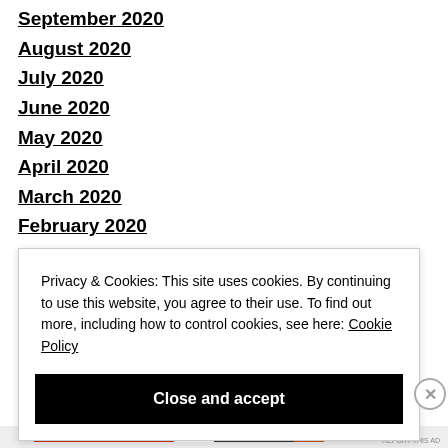September 2020
August 2020
July 2020
June 2020
May 2020
April 2020
March 2020
February 2020
January 2020
Privacy & Cookies: This site uses cookies. By continuing to use this website, you agree to their use. To find out more, including how to control cookies, see here: Cookie Policy
Close and accept